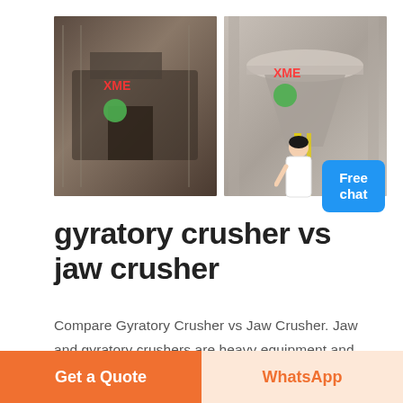[Figure (photo): Two industrial crusher machines side by side. Left image shows a jaw crusher in an outdoor/construction setting with scaffolding and XME watermark. Right image shows a gyratory crusher in an industrial building with XME watermark.]
gyratory crusher vs jaw crusher
Compare Gyratory Crusher vs Jaw Crusher. Jaw and gyratory crushers are heavy equipment and are not used extensively in the food industry. In a jaw crusher, the material is fed in between two